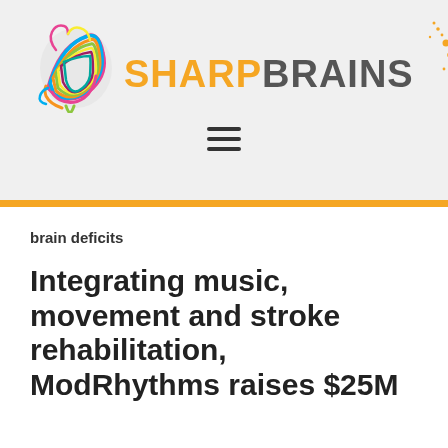[Figure (logo): SharpBrains logo with colorful brain illustration and orange/gray wordmark, plus sparkle dots graphic]
brain deficits
Integrating music, movement and stroke rehabilitation, ModRhythms raises $25M